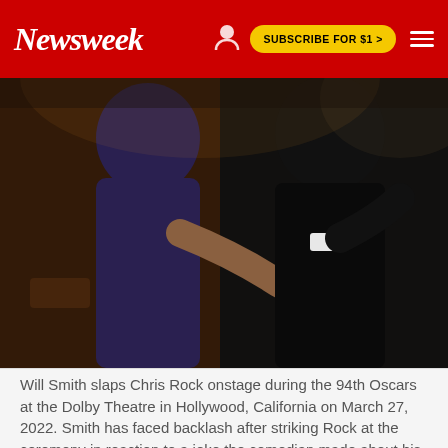Newsweek | SUBSCRIBE FOR $1 >
[Figure (photo): Will Smith slapping Chris Rock onstage at the 94th Oscars, two men in formal wear, one reaching toward the other, dark background of theater seating]
Will Smith slaps Chris Rock onstage during the 94th Oscars at the Dolby Theatre in Hollywood, California on March 27, 2022. Smith has faced backlash after striking Rock at the ceremony in reaction to a joke the comedian made about his wife, Jada Pinkett Smith.
ROBYN BECK/AFP VIA GETTY IMAGES